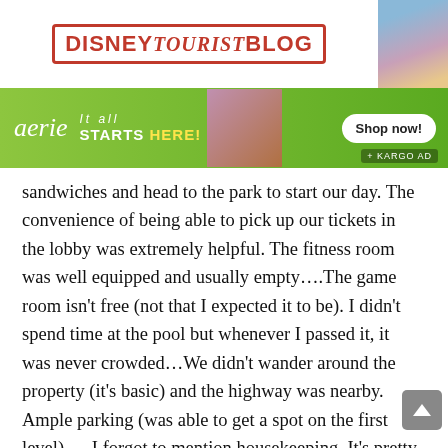DISNEYTOURISTBLOG
[Figure (photo): Woman with blonde hair on right side of header]
[Figure (infographic): Aerie advertisement banner: 'aerie It all STARTS HERE!' on green background with Shop now button and + KARGO AD label]
sandwiches and head to the park to start our day. The convenience of being able to pick up our tickets in the lobby was extremely helpful. The fitness room was well equipped and usually empty….The game room isn't free (not that I expected it to be). I didn't spend time at the pool but whenever I passed it, it was never crowded…We didn't wander around the property (it's basic) and the highway was nearby. Ample parking (was able to get a spot on the first level)…. I forgot to mention housekeeping. It's pretty hit or miss. We were on the 5th floor of a 6 story building and after spending all day at the park, arrived back to our room after 5pm and they had not been to our floor. I phoned down to the lobby and was informed they have til